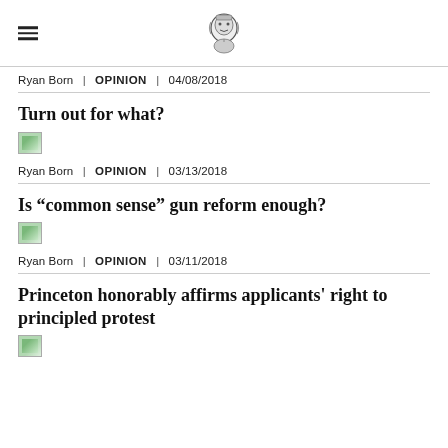[Newspaper logo / masthead icon]
Ryan Born | OPINION | 04/08/2018
Turn out for what?
[Figure (photo): Broken/missing image placeholder]
Ryan Born | OPINION | 03/13/2018
Is “common sense” gun reform enough?
[Figure (photo): Broken/missing image placeholder]
Ryan Born | OPINION | 03/11/2018
Princeton honorably affirms applicants' right to principled protest
[Figure (photo): Broken/missing image placeholder]